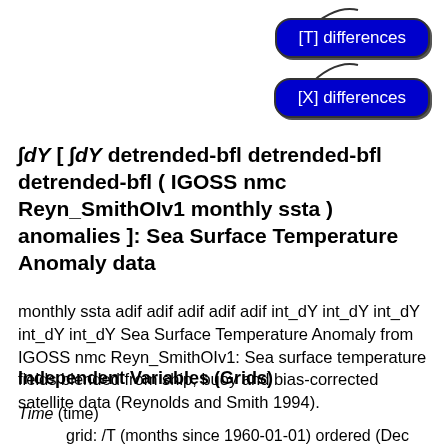[Figure (other): Two blue rounded-rectangle buttons with squiggly connector lines. Top button reads '[T] differences', bottom button reads '[X] differences'.]
∫dY [ ∫dY detrended-bfl detrended-bfl detrended-bfl ( IGOSS nmc Reyn_SmithOIv1 monthly ssta ) anomalies ]: Sea Surface Temperature Anomaly data
monthly ssta adif adif adif adif adif int_dY int_dY int_dY int_dY int_dY Sea Surface Temperature Anomaly from IGOSS nmc Reyn_SmithOIv1: Sea surface temperature fields blended from ship, buoy and bias-corrected satellite data (Reynolds and Smith 1994).
Independent Variables (Grids)
Time (time)
    grid: /T (months since 1960-01-01) ordered (Dec 1981) to (Feb 2003) by 1.0 N= 255 pts :grid